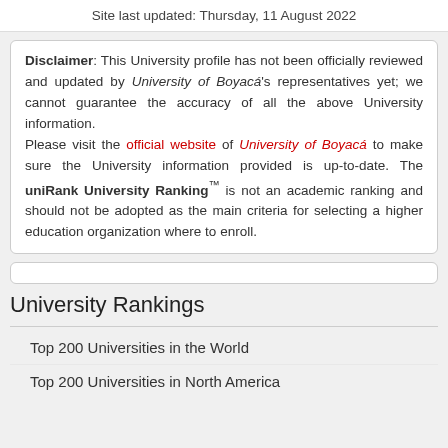Site last updated: Thursday, 11 August 2022
Disclaimer: This University profile has not been officially reviewed and updated by University of Boyacá's representatives yet; we cannot guarantee the accuracy of all the above University information.
Please visit the official website of University of Boyacá to make sure the University information provided is up-to-date. The uniRank University Ranking™ is not an academic ranking and should not be adopted as the main criteria for selecting a higher education organization where to enroll.
University Rankings
Top 200 Universities in the World
Top 200 Universities in North America